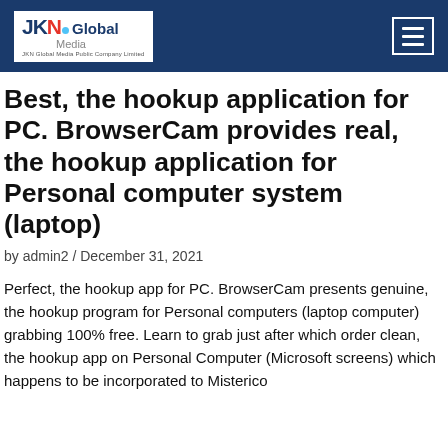JKN Global Media — JKN Global Media Public Company Limited
Best, the hookup application for PC. BrowserCam provides real, the hookup application for Personal computer system (laptop)
by admin2 / December 31, 2021
Perfect, the hookup app for PC. BrowserCam presents genuine, the hookup program for Personal computers (laptop computer) grabbing 100% free. Learn to grab just after which order clean, the hookup app on Personal Computer (Microsoft screens) which happens to be incorporated to Misterico